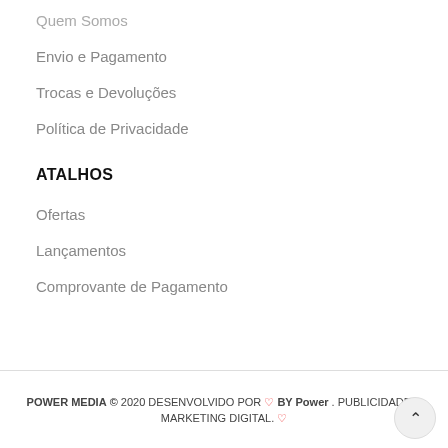Quem Somos
Envio e Pagamento
Trocas e Devoluções
Política de Privacidade
ATALHOS
Ofertas
Lançamentos
Comprovante de Pagamento
POWER MEDIA © 2020 DESENVOLVIDO POR ♡ BY Power . PUBLICIDADE & MARKETING DIGITAL. ♡